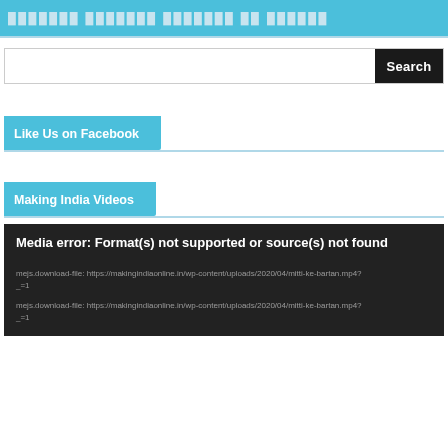xxxxxxx xxxxxxx xxxxxxx xx xxxxxx
[Figure (screenshot): Search input bar with black Search button]
Like Us on Facebook
Making India Videos
Media error: Format(s) not supported or source(s) not found

mejs.download-file: https://makingindiaonline.in/wp-content/uploads/2020/04/mitti-ke-bartan.mp4?_=1
mejs.download-file: https://makingindiaonline.in/wp-content/uploads/2020/04/mitti-ke-bartan.mp4?_=1